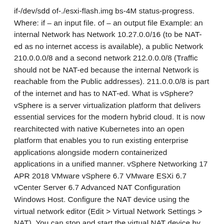if-/dev/sdd of-./esxi-flash.img bs-4M status-progress. Where: if – an input file. of – an output file Example: an internal Network has Network 10.27.0.0/16 (to be NAT-ed as no internet access is available), a public Network 210.0.0.0/8 and a second network 212.0.0.0/8 (Traffic should not be NAT-ed because the internal Network is reachable from the Public addresses). 211.0.0.0/8 is part of the internet and has to NAT-ed. What is vSphere? vSphere is a server virtualization platform that delivers essential services for the modern hybrid cloud. It is now rearchitected with native Kubernetes into an open platform that enables you to run existing enterprise applications alongside modern containerized applications in a unified manner. vSphere Networking 17 APR 2018 VMware vSphere 6.7 VMware ESXi 6.7 vCenter Server 6.7 Advanced NAT Configuration Windows Host. Configure the NAT device using the virtual network editor (Edit > Virtual Network Settings > NAT). You can stop and start the virtual NAT device by clicking the appropriate buttons. To edit NAT settings for a